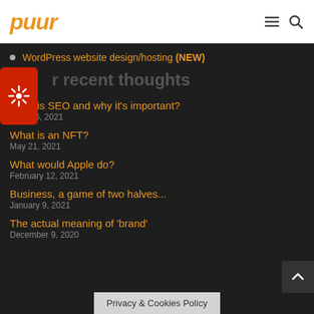puur
WordPress website design/hosting (NEW)
r recent thoughts
What is SEO and why it's important? — June 16, 2021
What is an NFT? — May 21, 2021
What would Apple do? — February 12, 2021
Business, a game of two halves... — January 9, 2021
The actual meaning of 'brand' — December 9, 2020
Privacy & Cookies Policy